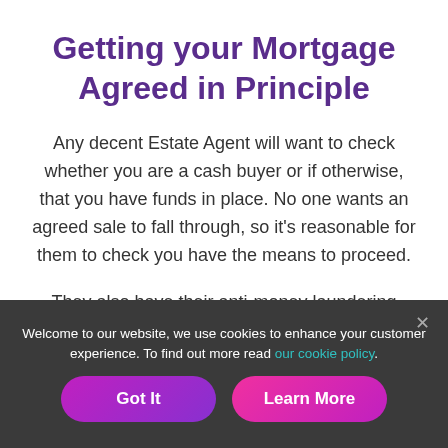Getting your Mortgage Agreed in Principle
Any decent Estate Agent will want to check whether you are a cash buyer or if otherwise, that you have funds in place. No one wants an agreed sale to fall through, so it's reasonable for them to check you have the means to proceed.
They also have their anti-money laundering
Welcome to our website, we use cookies to enhance your customer experience. To find out more read our cookie policy.